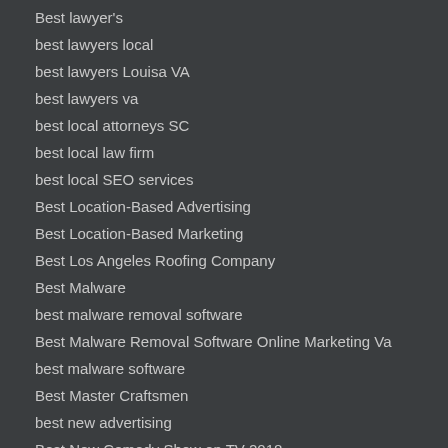Best lawyer's
best lawyers local
best lawyers Louisa VA
best lawyers va
best local attorneys SC
best local law firm
best local SEO services
Best Location-Based Advertising
Best Location-Based Marketing
Best Los Angeles Roofing Company
Best Malware
best malware removal software
Best Malware Removal Software Online Marketing Va
best malware software
Best Master Craftsmen
best new advertising
Best New Comedy Show on TV 2018